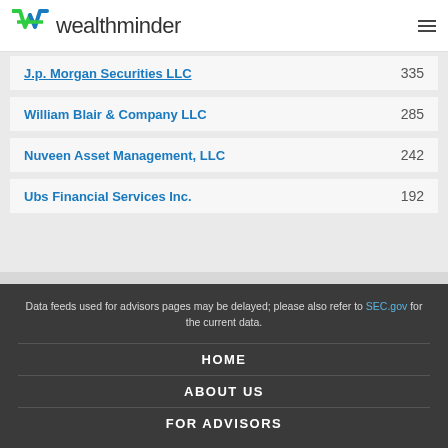wealthminder
J.p. Morgan Securities LLC   335
William Blair & Company LLC   285
Nuveen Asset Management, LLC   242
Ubs Financial Services Inc.   192
Data feeds used for advisors pages may be delayed; please also refer to SEC.gov for the current data.
HOME
ABOUT US
FOR ADVISORS